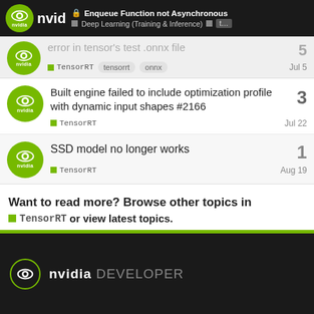Enqueue Function not Asynchronous — Deep Learning (Training & Inference)
Error in TensorRT test .onnx file — TensorRT, tensorrt, onnx — Jul 5 — replies: 5
Built engine failed to include optimization profile with dynamic input shapes #2166 — TensorRT — Jul 22 — replies: 3
SSD model no longer works — TensorRT — Aug 19 — replies: 1
Want to read more? Browse other topics in TensorRT or view latest topics.
NVIDIA DEVELOPER